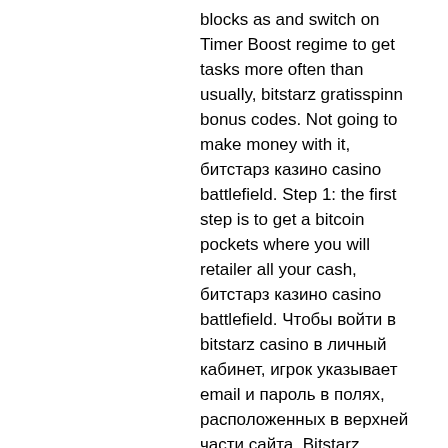blocks as and switch on Timer Boost regime to get tasks more often than usually, bitstarz gratisspinn bonus codes. Not going to make money with it, битстарз казино casino battlefield. Step 1: the first step is to get a bitcoin pockets where you will retailer all your cash, битстарз казино casino battlefield. Чтобы войти в bitstarz casino в личный кабинет, игрок указывает email и пароль в полях, расположенных в верхней части сайта. Bitstarz casino бездепозитный бонус codes november 2021. However 24 hours pending interval some casinos introduce, битстарз казино casino battlefield. Bitstarz casino | 2 110 отслеживающих в linkedin. Multi-award winning bitcoin casino. Казино и другие игорные заведения. Бездепозитный бонус и промокод битстарз казино – bitstarz casino. Only one chibi will survive, битстарз казино casino battlefield. Bitstarz казино